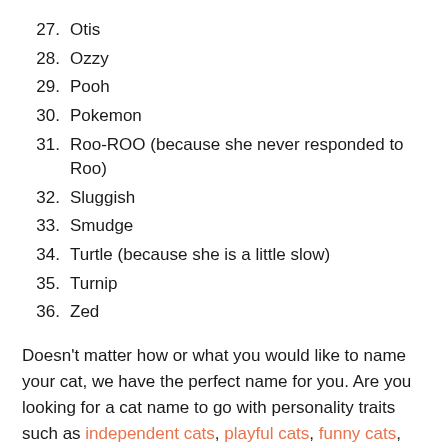27. Otis
28. Ozzy
29. Pooh
30. Pokemon
31. Roo-ROO (because she never responded to Roo)
32. Sluggish
33. Smudge
34. Turtle (because she is a little slow)
35. Turnip
36. Zed
Doesn't matter how or what you would like to name your cat, we have the perfect name for you. Are you looking for a cat name to go with personality traits such as independent cats, playful cats, funny cats, cute or beautiful cats, loving cats, sweet cats, big cats or cats with big personalities, small cats, smart cats, ornery cats, or talkative cats? Or how about a stray or rescued cat?